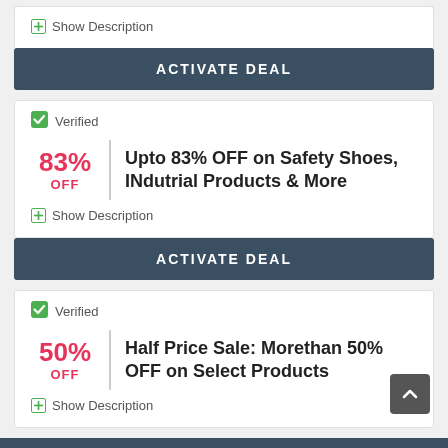Show Description
ACTIVATE DEAL
Verified
83% OFF
Upto 83% OFF on Safety Shoes, INdutrial Products & More
Show Description
ACTIVATE DEAL
Verified
50% OFF
Half Price Sale: Morethan 50% OFF on Select Products
Show Description